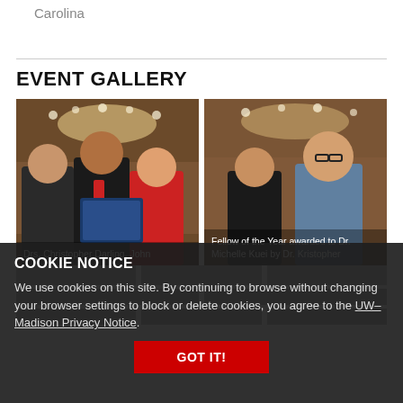Spartanburg Regional Healthcare System, South Carolina
EVENT GALLERY
[Figure (photo): Two photos side by side from an event gallery. Left photo: Drs. Christopher Darling, John Silver, and Kelly McQuinn standing together holding a framed award in a conference hall. Right photo: Fellow of the Year awarded to Dr. Michelle Kuei by Dr. Kristopher Supervisor, two people smiling in a conference hall.]
Drs. Christopher Darling, John Silver, and Kelly McQuinn
Fellow of the Year awarded to Dr. Michelle Kuei by Dr. Kristopher
COOKIE NOTICE
We use cookies on this site. By continuing to browse without changing your browser settings to block or delete cookies, you agree to the UW–Madison Privacy Notice.
GOT IT!